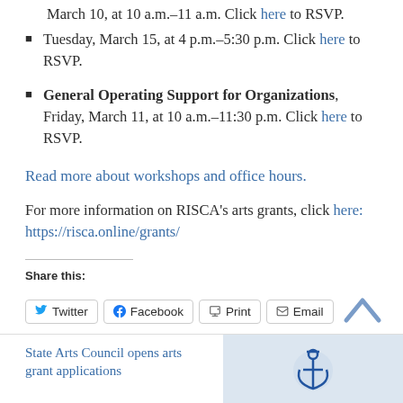March 10, at 10 a.m.–11 a.m. Click here to RSVP.
Tuesday, March 15, at 4 p.m.–5:30 p.m. Click here to RSVP.
General Operating Support for Organizations, Friday, March 11, at 10 a.m.–11:30 p.m. Click here to RSVP.
Read more about workshops and office hours.
For more information on RISCA's arts grants, click here: https://risca.online/grants/
Share this:
Twitter  Facebook  Print  Email
State Arts Council opens arts grant applications